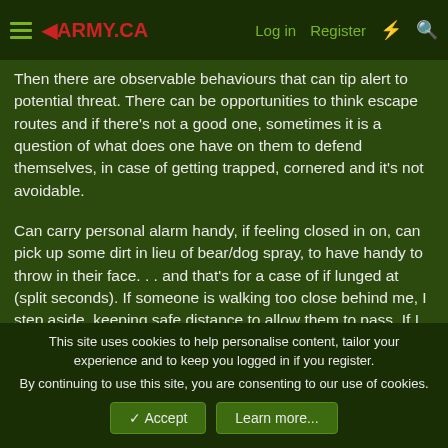≡ ◄ARMY.CA   Log in   Register   ⚡   🔍
Then there are observable behaviours that can tip alert to potential threat.  There can be opportunities to think escape routes and if there's not a good one, sometimes it is a question of what does one have on them to defend themselves, in case of getting trapped, cornered and it's not avoidable.
Can carry personal alarm handy, if feeling closed in on, can pick up some dirt in lieu of bear/dog spray, to have handy to throw in their face. . . and that's for a case of if lunged at (split seconds).  If someone is walking too close behind me, I step aside, keeping safe distance to allow them to pass.  If I think I'm being followed, because noticing a person's irratic behaviours e.g. crossing the street back and forth, I might change direction and assess potential threat from a place of safety, well lit, near traffic, or
This site uses cookies to help personalise content, tailor your experience and to keep you logged in if you register.
By continuing to use this site, you are consenting to our use of cookies.